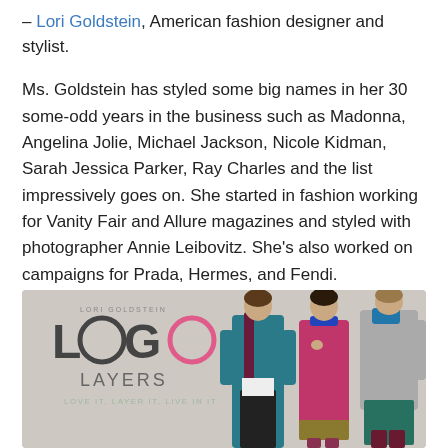– Lori Goldstein, American fashion designer and stylist.
Ms. Goldstein has styled some big names in her 30 some-odd years in the business such as Madonna, Angelina Jolie, Michael Jackson, Nicole Kidman, Sarah Jessica Parker, Ray Charles and the list impressively goes on. She started in fashion working for Vanity Fair and Allure magazines and styled with photographer Annie Leibovitz. She's also worked on campaigns for Prada, Hermes, and Fendi.
[Figure (photo): LORI GOLDSTEIN LOGO LAYERS - LOVE IT, LAYER IT, LIVE IN IT. Three women modeling layered clothing on a light grey background.]